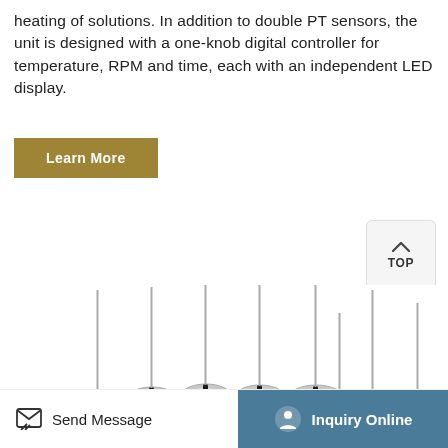heating of solutions. In addition to double PT sensors, the unit is designed with a one-knob digital controller for temperature, RPM and time, each with an independent LED display.
[Figure (other): Learn More button — gold/olive colored rectangular call-to-action button]
[Figure (other): TOP navigation button — small square button with upward arrow and text TOP]
[Figure (photo): Multi-position magnetic stirrer heating unit — blue rectangular base with 8 round silver heating/stirring plates and 8 vertical metal probe/temperature sensor rods inserted into each position]
Send Message   Inquiry Online